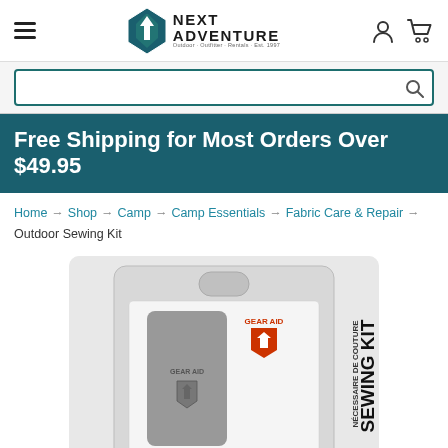Next Adventure — Outdoor Outfitter & Rentals | Est. 1997
Free Shipping for Most Orders Over $49.95
Home → Shop → Camp → Camp Essentials → Fabric Care & Repair → Outdoor Sewing Kit
[Figure (photo): Product photo of Gear Aid Sewing Kit in clear blister packaging, showing a grey rectangular case with Gear Aid logo and the text 'SEWING KIT / NÉCESSAIRE DE COUTURE' on the packaging.]